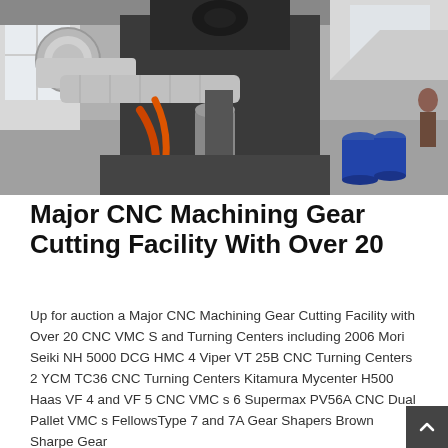[Figure (photo): Industrial CNC machining facility interior showing large metalworking machinery with silver ventilation ducts, orange hydraulic hoses, and blue barrels in the background. The facility has white walls and appears to be a large manufacturing floor.]
Major CNC Machining Gear Cutting Facility With Over 20
Up for auction a Major CNC Machining Gear Cutting Facility with Over 20 CNC VMC S and Turning Centers including 2006 Mori Seiki NH 5000 DCG HMC 4 Viper VT 25B CNC Turning Centers 2 YCM TC36 CNC Turning Centers Kitamura Mycenter H500 Haas VF 4 and VF 5 CNC VMC s 6 Supermax PV56A CNC Dual Pallet VMC s FellowsType 7 and 7A Gear Shapers Brown Sharpe Gear